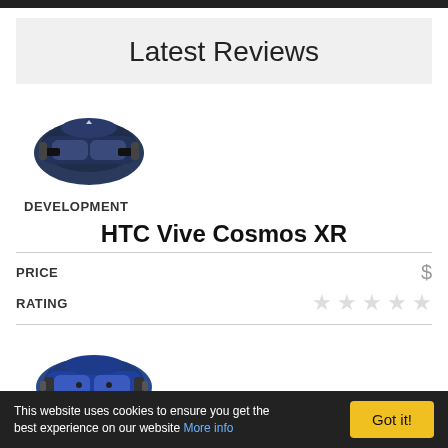Latest Reviews
[Figure (photo): HTC Vive Cosmos XR VR headset, dark blue and black, front view]
DEVELOPMENT
HTC Vive Cosmos XR
PRICE   $
RATING  ☆☆☆☆☆
[Figure (photo): HTC Vive Cosmos Play VR headset, blue and black, front angled view]
HTC Vive Cosmos Play
This website uses cookies to ensure you get the best experience on our website More info
Got it!